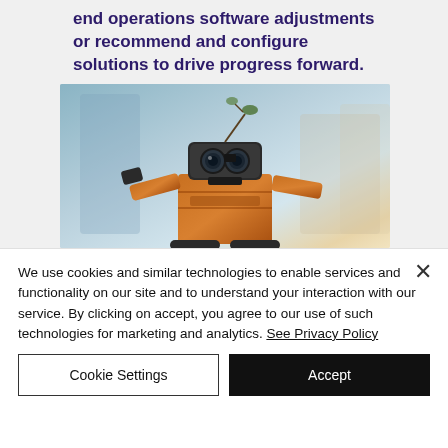end operations software adjustments or recommend and configure solutions to drive progress forward.
[Figure (photo): Photo of a WALL-E style robot toy figure with binocular eyes and orange body, set against a blurred blue-grey background]
We use cookies and similar technologies to enable services and functionality on our site and to understand your interaction with our service. By clicking on accept, you agree to our use of such technologies for marketing and analytics. See Privacy Policy